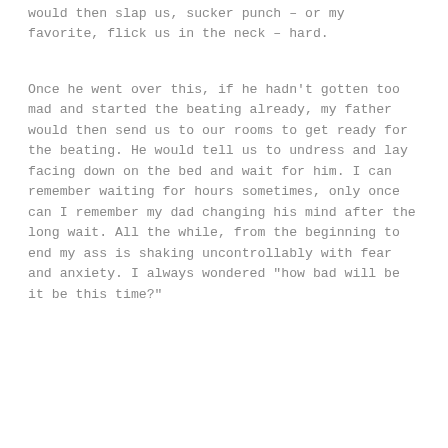would then slap us, sucker punch – or my favorite, flick us in the neck – hard.
Once he went over this, if he hadn't gotten too mad and started the beating already, my father would then send us to our rooms to get ready for the beating. He would tell us to undress and lay facing down on the bed and wait for him. I can remember waiting for hours sometimes, only once can I remember my dad changing his mind after the long wait. All the while, from the beginning to end my ass is shaking uncontrollably with fear and anxiety. I always wondered "how bad will be it be this time?"